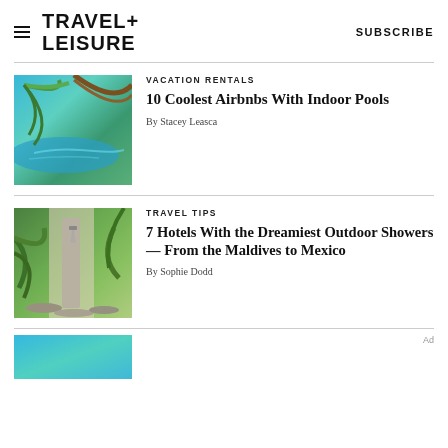TRAVEL+ LEISURE   SUBSCRIBE
VACATION RENTALS
10 Coolest Airbnbs With Indoor Pools
By Stacey Leasca
TRAVEL TIPS
7 Hotels With the Dreamiest Outdoor Showers — From the Maldives to Mexico
By Sophie Dodd
Ad